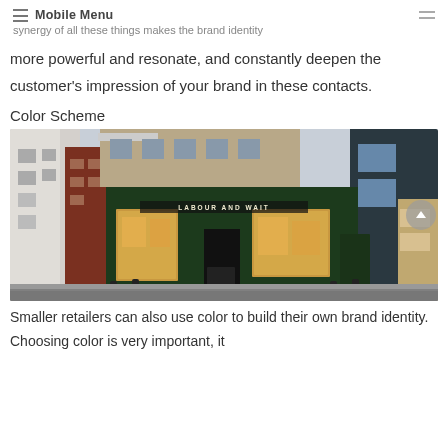Mobile Menu
synergy of all these things makes the brand identity
more powerful and resonate, and constantly deepen the customer's impression of your brand in these contacts.
Color Scheme
[Figure (photo): Exterior photograph of the Labour and Wait store, a shop with a distinctive dark green tiled facade, large illuminated display windows, and a sign reading LABOUR AND WAIT. The building is on a street corner with other buildings visible on the left side.]
Smaller retailers can also use color to build their own brand identity. Choosing color is very important, it